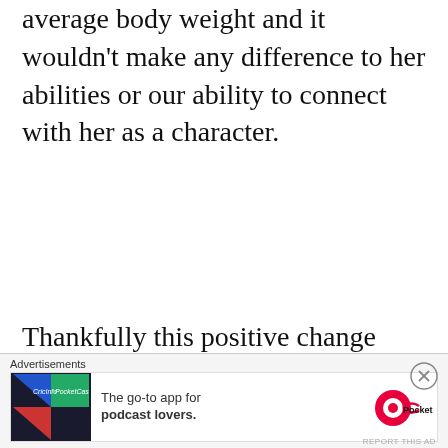average body weight and it wouldn't make any difference to her abilities or our ability to connect with her as a character.
Thankfully this positive change towards body diversity is already alive and well in pop culture as exemplified by excellent comics such as Rat Queens and excellent cartoons such as Steven Universe, which both feature refreshingly female-orientated super-powered teams of diversely powered and
Advertisements
[Figure (other): Pocket Casts advertisement banner showing logo and tagline 'The go-to app for podcast lovers.']